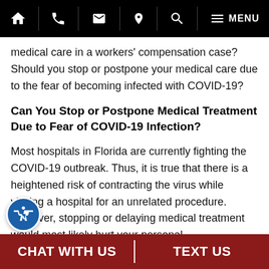Navigation bar with home, phone, email, location, search, menu icons
medical care in a workers' compensation case? Should you stop or postpone your medical care due to the fear of becoming infected with COVID-19?
Can You Stop or Postpone Medical Treatment Due to Fear of COVID-19 Infection?
Most hospitals in Florida are currently fighting the COVID-19 outbreak. Thus, it is true that there is a heightened risk of contracting the virus while visiting a hospital for an unrelated procedure. However, stopping or delaying medical treatment would most likely hurt your personal
CHAT WITH US | TEXT US